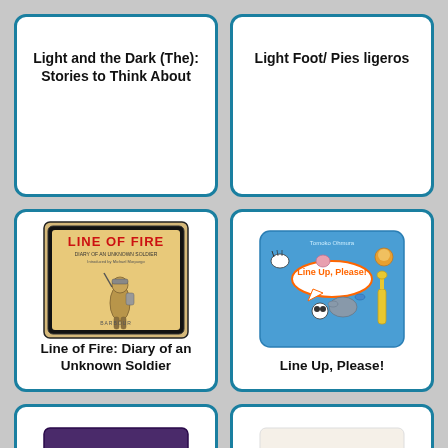Light and the Dark (The): Stories to Think About
Light Foot/ Pies ligeros
[Figure (photo): Book cover of 'Line of Fire: Diary of an Unknown Soldier' showing a soldier illustration with the title in red text]
Line of Fire: Diary of an Unknown Soldier
[Figure (photo): Book cover of 'Line Up, Please!' showing cartoon animals lined up on a blue background]
Line Up, Please!
[Figure (photo): Book cover of 'The Lion Tattoo' with purple/dark background and cursive title]
[Figure (photo): Book cover of 'Lion, King and Coin' with teal plant decorations and orange title text]